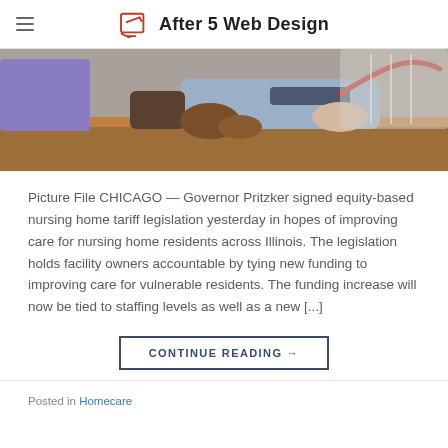After 5 Web Design
[Figure (photo): A nurse taking blood pressure of an elderly patient sitting at a table, close-up of hands with blood pressure cuff.]
Picture File CHICAGO — Governor Pritzker signed equity-based nursing home tariff legislation yesterday in hopes of improving care for nursing home residents across Illinois. The legislation holds facility owners accountable by tying new funding to improving care for vulnerable residents. The funding increase will now be tied to staffing levels as well as a new [...]
CONTINUE READING →
Posted in Homecare